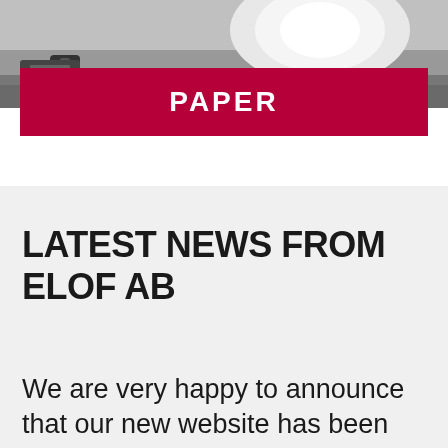[Figure (photo): Photo of paper/printing equipment, partially visible at top of page]
PAPER
LATEST NEWS FROM ELOF AB
We are very happy to announce that our new website has been